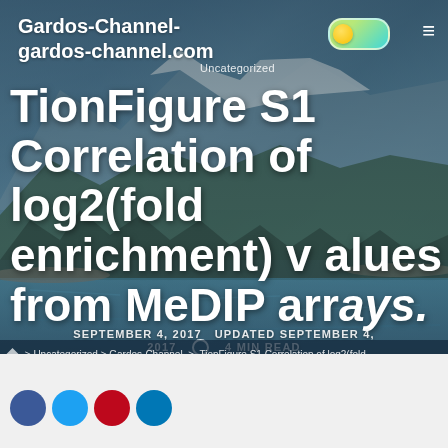Gardos-Channel-gardos-channel.com
Uncategorized
TionFigure S1 Correlation of log2(fold enrichment) values from MeDIP arrays.
SEPTEMBER 4, 2017  UPDATED SEPTEMBER 4, 2017  4 MIN READ
Home > Uncategorized > TionFigure S1 Correlation of log2(fold enrichment) values from MeDIP arrays.